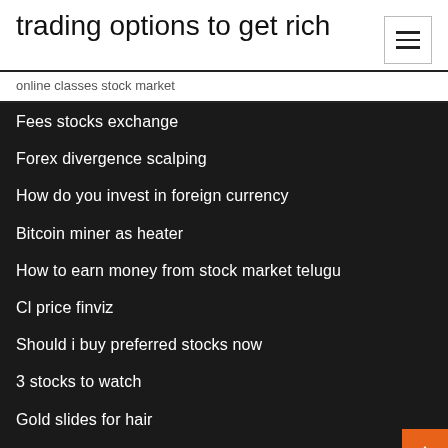trading options to get rich
online classes stock market
Fees stocks exchange
Forex divergence scalping
How do you invest in foreign currency
Bitcoin miner as heater
How to earn money from stock market telugu
Cl price finviz
Should i buy preferred stocks now
3 stocks to watch
Gold slides for hair
Rbob gas price today